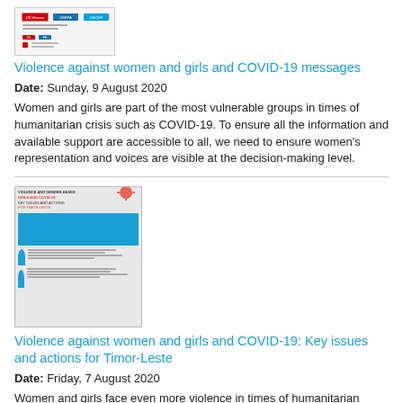[Figure (screenshot): Thumbnail image of a document about violence against women and girls and COVID-19 messages]
Violence against women and girls and COVID-19 messages
Date: Sunday, 9 August 2020
Women and girls are part of the most vulnerable groups in times of humanitarian crisis such as COVID-19. To ensure all the information and available support are accessible to all, we need to ensure women's representation and voices are visible at the decision-making level.
[Figure (screenshot): Thumbnail image of a document about violence against women and girls and COVID-19: Key issues and actions for Timor-Leste]
Violence against women and girls and COVID-19: Key issues and actions for Timor-Leste
Date: Friday, 7 August 2020
Women and girls face even more violence in times of humanitarian crises, such as this moment with COVID-19 and past outbreaks